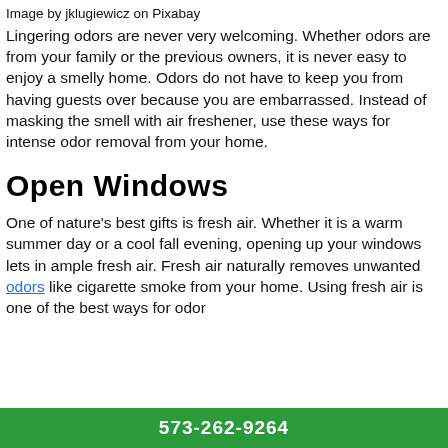Image by jklugiewicz on Pixabay
Lingering odors are never very welcoming. Whether odors are from your family or the previous owners, it is never easy to enjoy a smelly home. Odors do not have to keep you from having guests over because you are embarrassed. Instead of masking the smell with air freshener, use these ways for intense odor removal from your home.
Open Windows
One of nature's best gifts is fresh air. Whether it is a warm summer day or a cool fall evening, opening up your windows lets in ample fresh air. Fresh air naturally removes unwanted odors like cigarette smoke from your home. Using fresh air is one of the best ways for odor
573-262-9264